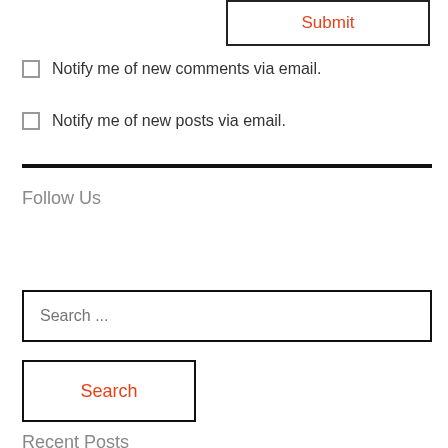Submit
Notify me of new comments via email.
Notify me of new posts via email.
Follow Us
Search ...
Search
Recent Posts